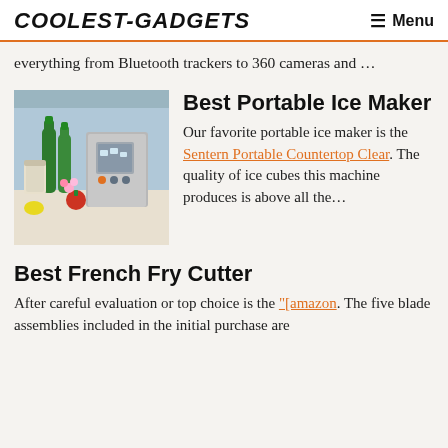COOLEST-GADGETS  Menu
everything from Bluetooth trackers to 360 cameras and …
Best Portable Ice Maker
[Figure (photo): Portable countertop ice maker on kitchen counter with vegetables and fruits nearby]
Our favorite portable ice maker is the Sentern Portable Countertop Clear. The quality of ice cubes this machine produces is above all the…
Best French Fry Cutter
After careful evaluation or top choice is the "[amazon. The five blade assemblies included in the initial purchase are